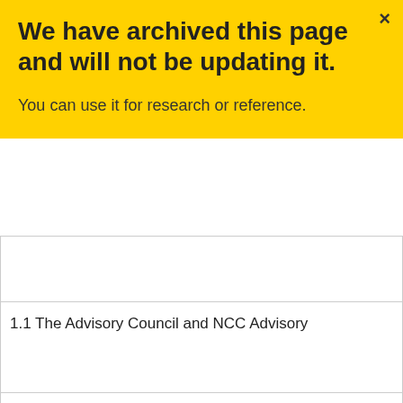We have archived this page and will not be updating it.
You can use it for research or reference.
|  |
| 1.1 The Advisory Council and NCC Advisory |
|  |
| 1.2 The NCCPLI Program Secretariat and A |